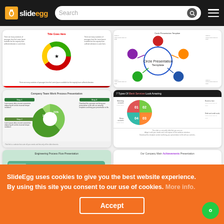slideegg — Search bar — Navigation menu
[Figure (screenshot): Slide thumbnail: donut chart with green, red, yellow sections and star icon]
[Figure (screenshot): Slide thumbnail: circle presentation template with colored circular connector diagram]
[Figure (screenshot): Slide thumbnail: Company Team Work Process Presentation with green pie chart showing percentages 21%, 57%, 24%]
[Figure (screenshot): Slide thumbnail: Types Of Bank Services Look Amazing with four-section pie chart numbered 01-04]
[Figure (screenshot): Slide thumbnail: Engineering Process Flow Presentation with teal background and flow diagram]
[Figure (screenshot): Slide thumbnail: Our Company Main Achievements Presentation with purple circular milestone icons]
SlideEgg uses cookies to give you the best website experience. By using this site you consent to our use of cookies. More info.
Accept